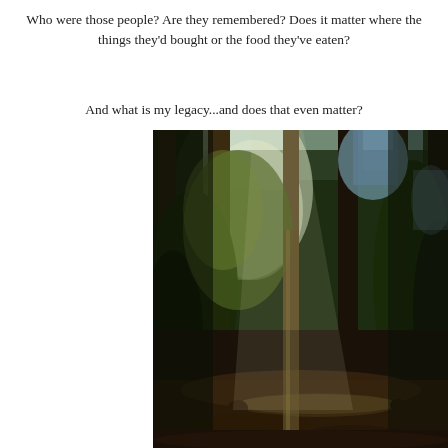Who were those people?  Are they remembered?  Does it matter where the things they'd bought or the food they've eaten?
And what is my legacy...and does that even matter?
[Figure (photo): A photograph of a forest with tall trees, sunlight filtering through the canopy, and a fallen log on the forest floor. The scene is dark with patches of light.]